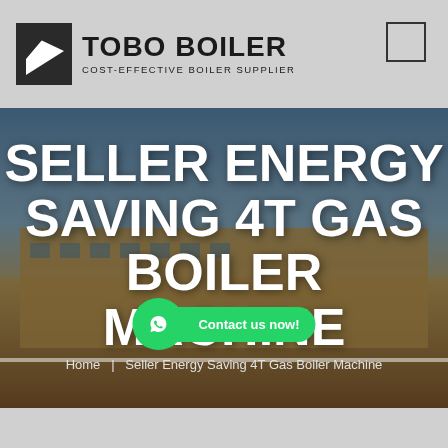[Figure (logo): TOBO BOILER logo with geometric icon and text 'COST-EFFECTIVE BOILER SUPPLIER']
SELLER ENERGY SAVING 4T GAS BOILER MACHINE
[Figure (photo): Industrial boiler factory building exterior with Chinese signage, sky background with clouds]
Home  |  Seller Energy Saving 4T Gas Boiler Machine
[Figure (infographic): WhatsApp contact button with green phone icon and 'Contact us now!' label]